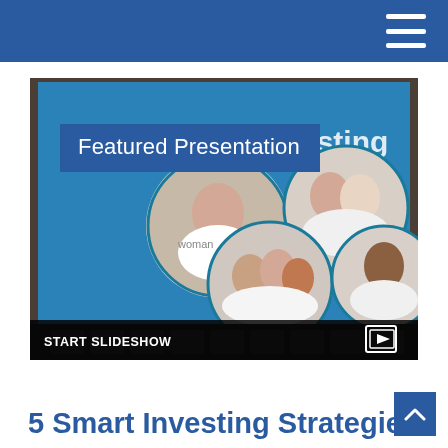Navigation bar with hamburger menu icon
[Figure (screenshot): A slideshow presentation screenshot showing a tablet displaying an investing-themed slide with circular photos of diverse people (a woman, an elderly couple, a family, a young man) on a blue background with the text 'd Investing' partially visible. The image has a 'Featured Presentation' blue label overlay and a 'START SLIDESHOW' bar at the bottom with a slideshow icon.]
5 Smart Investing Strategies